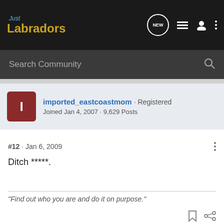Just Labradors
Search Community
imported_eastcoastmom · Registered
Joined Jan 4, 2007 · 9,629 Posts
#12 · Jan 6, 2009
Ditch *****.
"Find out who you are and do it on purpose."